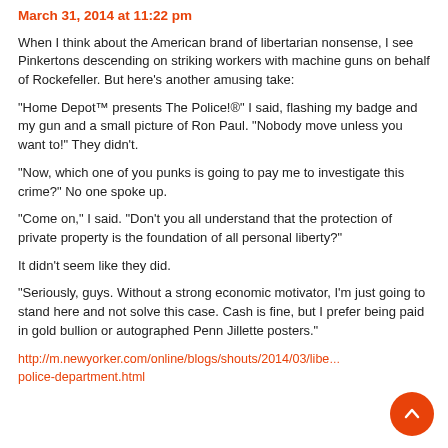March 31, 2014 at 11:22 pm
When I think about the American brand of libertarian nonsense, I see Pinkertons descending on striking workers with machine guns on behalf of Rockefeller. But here’s another amusing take:
“Home Depot™ presents The Police!®” I said, flashing my badge and my gun and a small picture of Ron Paul. “Nobody move unless you want to!” They didn’t.
“Now, which one of you punks is going to pay me to investigate this crime?” No one spoke up.
“Come on,” I said. “Don’t you all understand that the protection of private property is the foundation of all personal liberty?”
It didn’t seem like they did.
“Seriously, guys. Without a strong economic motivator, I’m just going to stand here and not solve this case. Cash is fine, but I prefer being paid in gold bullion or autographed Penn Jillette posters.”
http://m.newyorker.com/online/blogs/shouts/2014/03/libe…/police-department.html